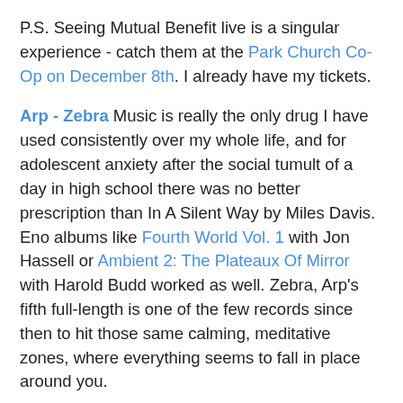P.S. Seeing Mutual Benefit live is a singular experience - catch them at the Park Church Co-Op on December 8th. I already have my tickets.
Arp - Zebra Music is really the only drug I have used consistently over my whole life, and for adolescent anxiety after the social tumult of a day in high school there was no better prescription than In A Silent Way by Miles Davis. Eno albums like Fourth World Vol. 1 with Jon Hassell or Ambient 2: The Plateaux Of Mirror with Harold Budd worked as well. Zebra, Arp's fifth full-length is one of the few records since then to hit those same calming, meditative zones, where everything seems to fall in place around you.
The vocabulary Alexis Georgopoulos, who records and performs as Arp, employs on Zebra seems customized for my own bliss: lazy vibraphones, fat analog synths, laconic drums, warm double bass, sparkling Fender Rhodes...sheer heaven. Try Nzuku, in which synths talk in delightful fragments over a vibe pattern, soon joined by an hypnotic bass line and drums that almost subliminally nudge things along. A squirrelly synth takes a brief solo, hinting at